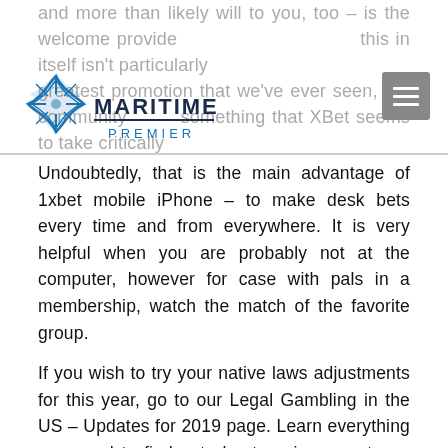and more than likely will to you, too – is the welcome provide this in itself isn't particularly greatest promotion that we've ever seen, the community something that XBet seems to take critically
[Figure (logo): Maritime Premier logo with a star/compass icon and text 'MARITIME PREMIER']
Undoubtedly, that is the main advantage of 1xbet mobile iPhone – to make desk bets every time and from everywhere. It is very helpful when you are probably not at the computer, however for case with pals in a membership, watch the match of the favorite group.
If you wish to try your native laws adjustments for this year, go to our Legal Gambling in the US – Updates for 2019 page. Learn everything you need to find out about paying your taxes on your gambling successful straight from a Certified Public Accountant in our unique